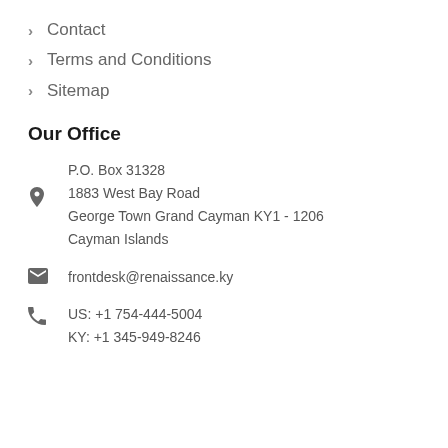Contact
Terms and Conditions
Sitemap
Our Office
P.O. Box 31328
1883 West Bay Road
George Town Grand Cayman KY1 - 1206
Cayman Islands
frontdesk@renaissance.ky
US: +1 754-444-5004
KY: +1 345-949-8246